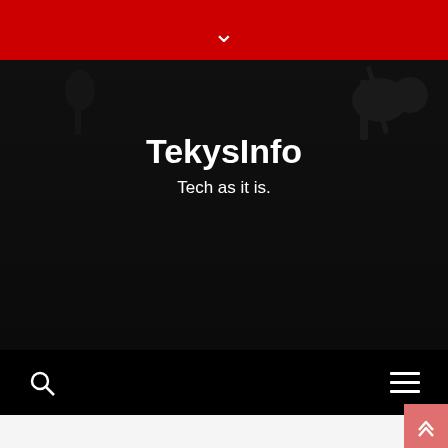TekysInfo — Tech as it is.
TekysInfo
Tech as it is.
[Figure (screenshot): Website header screenshot showing TekysInfo logo text and tagline on a dark/black background with decorative elements, a red top bar with chevron, search icon on bottom left and hamburger menu on bottom right]
[Figure (photo): Photo of a creative composite image showing a laptop on a wooden table with a hand emerging from the laptop screen shaking hands with a person sitting across, a coffee cup visible on the right side]